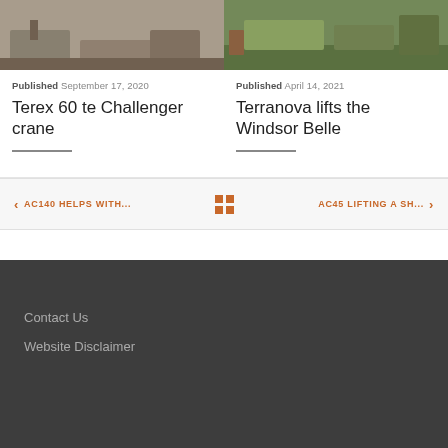[Figure (photo): Photo of a Terex 60 te Challenger crane on a paved surface with equipment]
[Figure (photo): Photo of Terranova crane lifting the Windsor Belle, with vehicles and people visible in background]
Published September 17, 2020
Terex 60 te Challenger crane
Published April 14, 2021
Terranova lifts the Windsor Belle
< AC140 HELPS WITH...
AC45 LIFTING A SH... >
Contact Us
Website Disclaimer